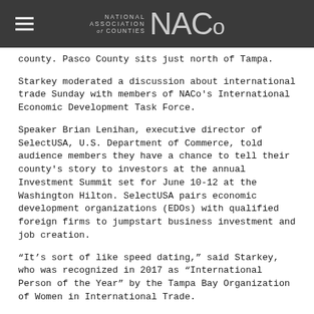NATIONAL ASSOCIATION of COUNTIES NACo
county. Pasco County sits just north of Tampa.
Starkey moderated a discussion about international trade Sunday with members of NACo's International Economic Development Task Force.
Speaker Brian Lenihan, executive director of SelectUSA, U.S. Department of Commerce, told audience members they have a chance to tell their county's story to investors at the annual Investment Summit set for June 10-12 at the Washington Hilton. SelectUSA pairs economic development organizations (EDOs) with qualified foreign firms to jumpstart business investment and job creation.
“It’s sort of like speed dating,” said Starkey, who was recognized in 2017 as “International Person of the Year” by the Tampa Bay Organization of Women in International Trade.
Panelist Marek Gootman, fellow and director of Strategic Partnerships and Global Initiatives at the Brookings Institution, said he often sees well-meaning economic development activities going on, “but they’re not well-coordinated, there is limited strategy.”